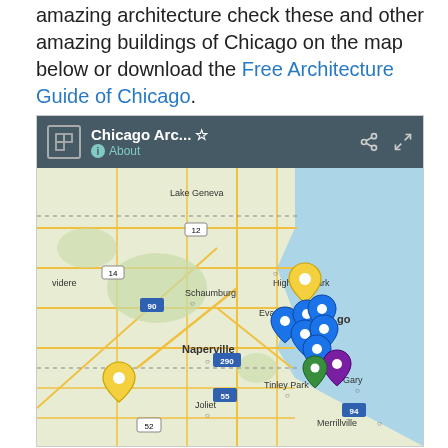amazing architecture check these and other amazing buildings of Chicago on the map below or download the Free Architecture Guide of Chicago.
[Figure (map): Google Maps embed titled 'Chicago Arc...' showing a map of the Chicago metropolitan area with multiple blue and yellow location pin markers clustered around downtown Chicago and one yellow marker near Naperville/Joliet area. The map shows surrounding suburbs including Schaumburg, Highland Park, Evanston, Naperville, Tinley Park, Joliet, Gary, and Merrillville.]